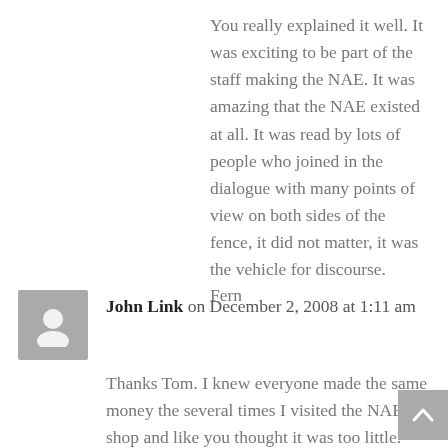You really explained it well. It was exciting to be part of the staff making the NAE. It was amazing that the NAE existed at all. It was read by lots of people who joined in the dialogue with many points of view on both sides of the fence, it did not matter, it was the vehicle for discourse.
Fern
John Link on December 2, 2008 at 1:11 am
Thanks Tom. I knew everyone made the same money the several times I visited the NAE shop and like you thought it was too little. But it was really obvious that the group was unified in its purpose to get the publication out. They were amazing in their ability to cooperate. I have always fancied